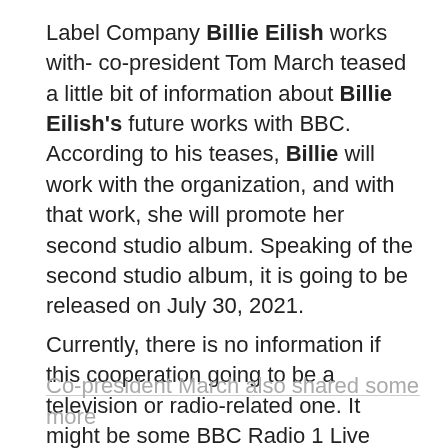Label Company Billie Eilish works with- co-president Tom March teased a little bit of information about Billie Eilish's future works with BBC. According to his teases, Billie will work with the organization, and with that work, she will promote her second studio album. Speaking of the second studio album, it is going to be released on July 30, 2021.
Currently, there is no information if this cooperation going to be a television or radio-related one. It might be some BBC Radio 1 Live Lounge event or a BBC live event where other artists such as Harry Styles, Ariana Grande, Adele, and more.
Co-president March also shared some more